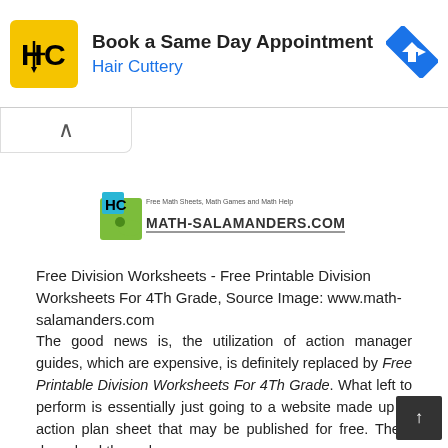[Figure (infographic): Hair Cuttery advertisement banner with yellow HC logo, text 'Book a Same Day Appointment' and 'Hair Cuttery', and a blue diamond navigation icon on the right.]
[Figure (logo): Math-Salamanders.com website logo with salamander mascot and tagline 'Free Math Sheets, Math Games and Math Help']
Free Division Worksheets - Free Printable Division Worksheets For 4Th Grade, Source Image: www.math-salamanders.com
The good news is, the utilization of action manager guides, which are expensive, is definitely replaced by Free Printable Division Worksheets For 4Th Grade. What left to perform is essentially just going to a website made up of action plan sheet that may be published for free. Then, down load the web